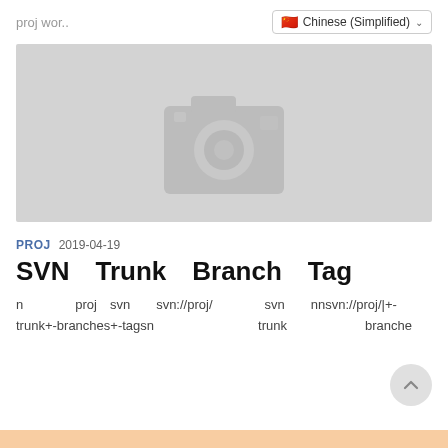proj wor..
Chinese (Simplified)
[Figure (photo): Gray placeholder image with a white camera icon in the center]
PROJ  2019-04-19
SVN　Trunk　Branch　Tag
n　　　　proj　svn　　svn://proj/　　　　svn　　nnsvn://proj/|+-trunk+-branches+-tagsn　　　　　　　　trunk　　　　　　branche